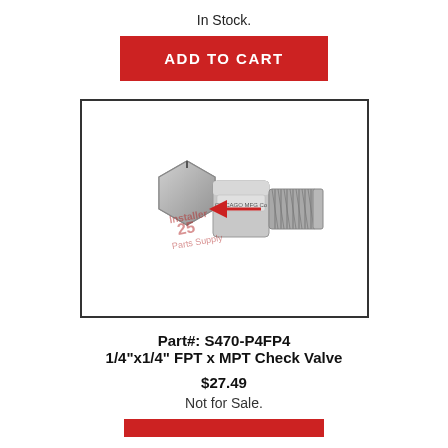In Stock.
ADD TO CART
[Figure (photo): Check valve product photo: a metallic 1/4" FPT x MPT check valve with a red arrow indicating flow direction. Watermark text reading '25 Parts Supply' overlaid on image.]
Part#: S470-P4FP4
1/4"x1/4" FPT x MPT Check Valve
$27.49
Not for Sale.